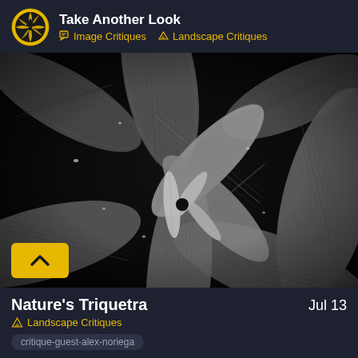Take Another Look — Image Critiques | Landscape Critiques
[Figure (photo): Grayscale close-up photograph of overlapping tropical or lily-like leaves with prominent veins and water droplets, forming a star/triquetra pattern. Title: Nature's Triquetra]
Nature's Triquetra
Jul 13
Landscape Critiques
critique-guest-alex-noriega